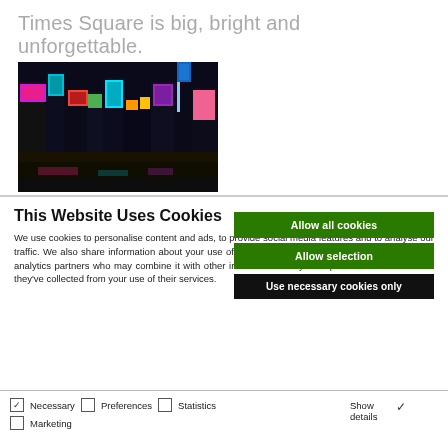Times Square is big, bright and unforgettable.
[Figure (photo): Night photo of Times Square with bright neon billboards and city buildings]
This Website Uses Cookies
We use cookies to personalise content and ads, to provide social media features and to analyse our traffic. We also share information about your use of our site with our social media, advertising and analytics partners who may combine it with other information that you've provided to them or that they've collected from your use of their services.
Allow all cookies
Allow selection
Use necessary cookies only
Necessary  Preferences  Statistics  Marketing  Show details